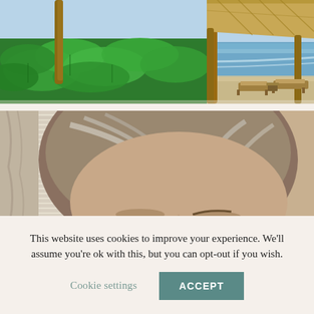[Figure (photo): Beach scene photo showing tropical plants with large green leaves in the foreground, palm tree trunks, a wooden pergola/thatched roof structure on the right, and the ocean with waves in the background. Lounge chairs are visible on the sandy beach.]
[Figure (photo): Close-up selfie photo of a middle-aged woman with gray-streaked hair, looking upward. Window blinds and curtains are visible in the background on the left, and a tan wall on the right.]
This website uses cookies to improve your experience. We'll assume you're ok with this, but you can opt-out if you wish.
Cookie settings
ACCEPT